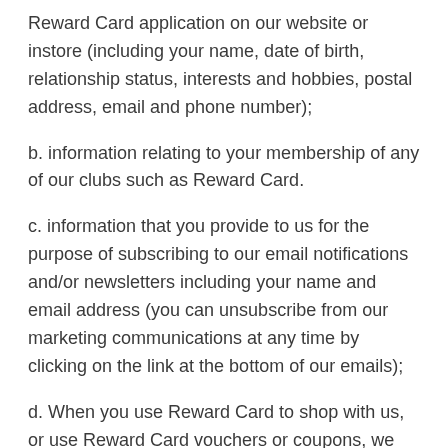Reward Card application on our website or instore (including your name, date of birth, relationship status, interests and hobbies, postal address, email and phone number);
b. information relating to your membership of any of our clubs such as Reward Card.
c. information that you provide to us for the purpose of subscribing to our email notifications and/or newsletters including your name and email address (you can unsubscribe from our marketing communications at any time by clicking on the link at the bottom of our emails);
d. When you use Reward Card to shop with us, or use Reward Card vouchers or coupons, we may collect transaction information, including the in-store and online purchases you earn Reward Card points for and how you use your Reward Card coupons and vouchers within Busy Boo...